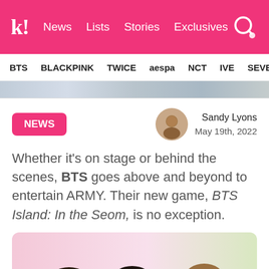k! News Lists Stories Exclusives
BTS BLACKPINK TWICE aespa NCT IVE SEVE
[Figure (photo): Hero banner image strip showing blurred K-pop related content]
NEWS
Sandy Lyons
May 19th, 2022
Whether it's on stage or behind the scenes, BTS goes above and beyond to entertain ARMY. Their new game, BTS Island: In the Seom, is no exception.
[Figure (illustration): Cartoon chibi-style illustration of three BTS members with black and brown hair, smiling, on a pastel pink and green background]